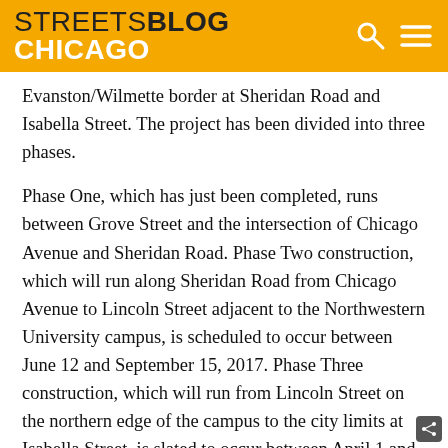STREETSBLOG CHICAGO
Evanston/Wilmette border at Sheridan Road and Isabella Street. The project has been divided into three phases.
Phase One, which has just been completed, runs between Grove Street and the intersection of Chicago Avenue and Sheridan Road. Phase Two construction, which will run along Sheridan Road from Chicago Avenue to Lincoln Street adjacent to the Northwestern University campus, is scheduled to occur between June 12 and September 15, 2017. Phase Three construction, which will run from Lincoln Street on the northern edge of the campus to the city limits at Isabella Street, is slated to occur between April 1 and October 19, 2018.